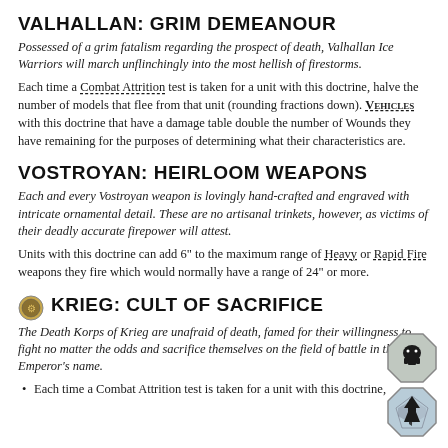VALHALLAN: GRIM DEMEANOUR
Possessed of a grim fatalism regarding the prospect of death, Valhallan Ice Warriors will march unflinchingly into the most hellish of firestorms.
Each time a Combat Attrition test is taken for a unit with this doctrine, halve the number of models that flee from that unit (rounding fractions down). VEHICLES with this doctrine that have a damage table double the number of Wounds they have remaining for the purposes of determining what their characteristics are.
VOSTROYAN: HEIRLOOM WEAPONS
Each and every Vostroyan weapon is lovingly hand-crafted and engraved with intricate ornamental detail. These are no artisanal trinkets, however, as victims of their deadly accurate firepower will attest.
Units with this doctrine can add 6" to the maximum range of Heavy or Rapid Fire weapons they fire which would normally have a range of 24" or more.
KRIEG: CULT OF SACRIFICE
The Death Korps of Krieg are unafraid of death, famed for their willingness to fight no matter the odds and sacrifice themselves on the field of battle in the Emperor's name.
Each time a Combat Attrition test is taken for a unit with this doctrine,